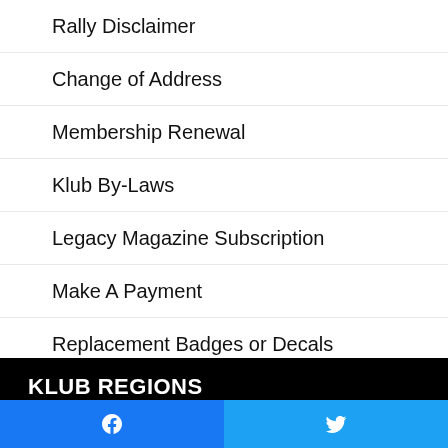Rally Disclaimer
Change of Address
Membership Renewal
Klub By-Laws
Legacy Magazine Subscription
Make A Payment
Replacement Badges or Decals
Officer Portal
Directors Portal
KLUB REGIONS
Region One